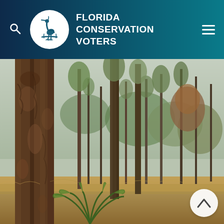Florida Conservation Voters
[Figure (photo): Tall pine trees in a Florida forest with green understory and palm fronds, overcast sky, natural landscape setting]